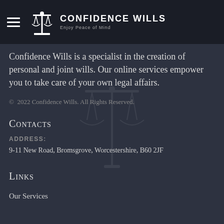Confidence Wills – Enjoy Peace of Mind
Confidence Wills is a specialist in the creation of personal and joint wills. Our online services empower you to take care of your own legal affairs.
© 2022 Confidence Wills. All Rights Reserved.
Contacts
ADDRESS:
9-11 New Road, Bromsgrove, Worcestershire, B60 2JF
Links
Our Services